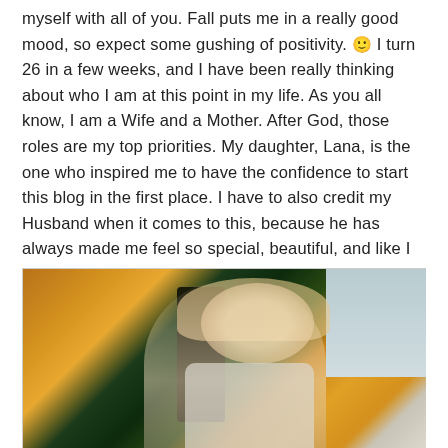myself with all of you. Fall puts me in a really good mood, so expect some gushing of positivity. 🙂 I turn 26 in a few weeks, and I have been really thinking about who I am at this point in my life. As you all know, I am a Wife and a Mother. After God, those roles are my top priorities. My daughter, Lana, is the one who inspired me to have the confidence to start this blog in the first place. I have to also credit my Husband when it comes to this, because he has always made me feel so special, beautiful, and like I could do anything I want in life.
[Figure (photo): A smiling young woman with long blonde hair outdoors, with a tree and brick building visible in the background, warm autumn lighting]